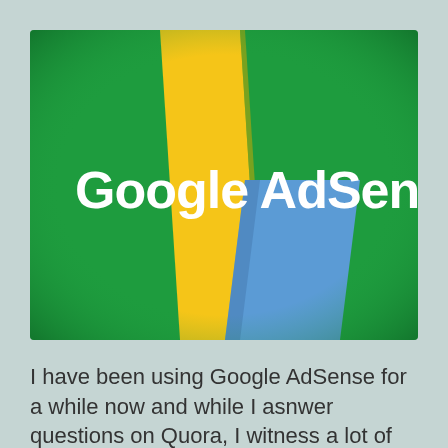[Figure (logo): Google AdSense logo on a green background with a stylized yellow and blue lightning bolt / parallelogram shape. White text reads 'Google AdSense'.]
I have been using Google AdSense for a while now and while I asnwer questions on Quora, I witness a lot of people and aspiring and